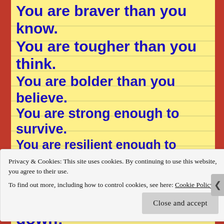[Figure (illustration): Yellow lined notepad background with motivational text in blue handwritten-style font for teachers]
Privacy & Cookies: This site uses cookies. By continuing to use this website, you agree to their use.
To find out more, including how to control cookies, see here: Cookie Policy
Close and accept